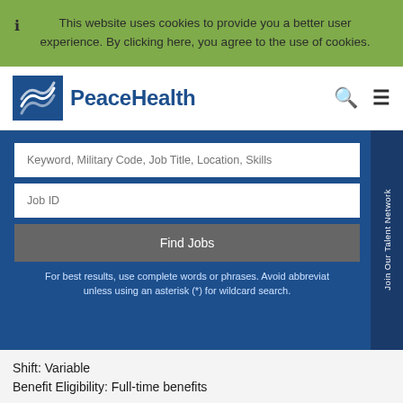This website uses cookies to provide you a better user experience. By clicking here, you agree to the use of cookies.
[Figure (logo): PeaceHealth logo with wave icon in blue square and PeaceHealth text]
Keyword, Military Code, Job Title, Location, Skills
Job ID
Find Jobs
For best results, use complete words or phrases. Avoid abbreviat unless using an asterisk (*) for wildcard search.
Join Our Talent Network
Shift: Variable
Benefit Eligibility: Full-time benefits